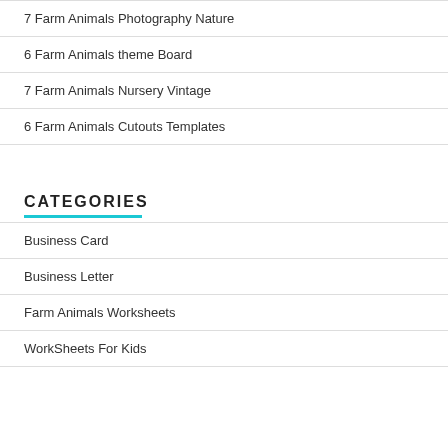7 Farm Animals Photography Nature
6 Farm Animals theme Board
7 Farm Animals Nursery Vintage
6 Farm Animals Cutouts Templates
CATEGORIES
Business Card
Business Letter
Farm Animals Worksheets
WorkSheets For Kids